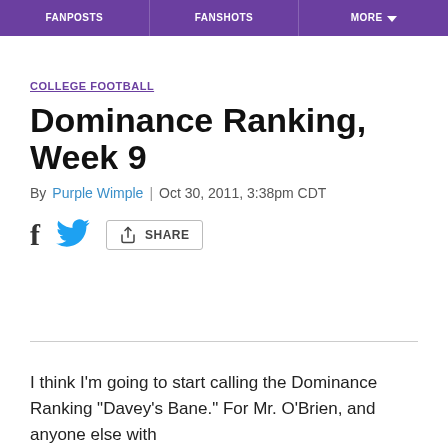FANPOSTS | FANSHOTS | MORE
COLLEGE FOOTBALL
Dominance Ranking, Week 9
By Purple Wimple | Oct 30, 2011, 3:38pm CDT
SHARE
I think I'm going to start calling the Dominance Ranking "Davey's Bane." For Mr. O'Brien, and anyone else with